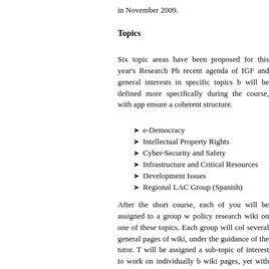in November 2009.
Topics
Six topic areas have been proposed for this year's Research Ph recent agenda of IGF and general interests in specific topics b will be defined more specifically during the course, with app ensure a coherent structure.
e-Democracy
Intellectual Property Rights
Cyber-Security and Safety
Infrastructure and Critical Resources
Development Issues
Regional LAC Group (Spanish)
After the short course, each of you will be assigned to a group w policy research wiki on one of these topics. Each group will col several general pages of wiki, under the guidance of the tutor. T will be assigned a sub-topic of interest to work on individually b wiki pages, yet with peer-to-peer feedback and under the guidan end, the drafted wiki pages will be polished and interlinked to p